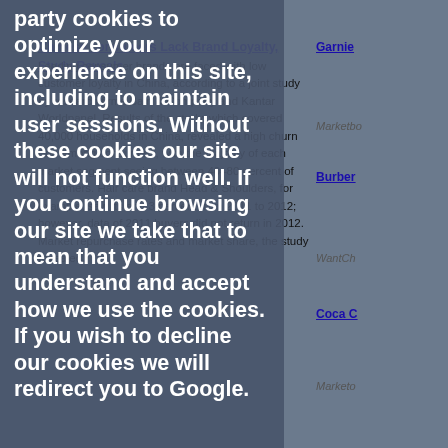party cookies to optimize your experience on this site, including to maintain user sessions. Without these cookies our site will not function well. If you continue browsing our site we take that to mean that you understand and accept how we use the cookies. If you wish to decline our cookies we will redirect you to Google.
Chinese consumers Lack Brand Loyalty, Study Reveals
Leading consumer brands are faced with low customer loyalty in China, according to a joint study by research firms Bain & Company and Kantar Worldpanel. Results of the study, which covered 40,000 households in China, revealed a high churn rate among consumers, with the majority of each market segment seeing between 40–80 percent of customers. Hair care brand Head & Shoulders, for example, saw its and 3 percent from 2011 to 2012; however, data of 2011 buyers did not return in 2012. Market repurchase rates and market share, the study revealed.
customers' lack of loyalty puts pressure on brands", South China 11, 2014
Coty Appoints Li & Fung As Distributor Of Some Brands In China
appointed Li & Fung as distributor of some of its brands, imel, and Playboy, in China. Marking a change in Coty's marketing strategy for mass-distribution brands in China, the deal will allow Coty to use Li & Fung's expansive distribution network in the country, as well as the local distributor's strengths in the go-to-market business. Coty also announced its plan to stop selling the TJoy brand on its leading global brands, which have more in the China market. According to the companies, ct on July 1, 2014.
Garnier
Marketbo
Burber
WantCh
Coca C
Marketo